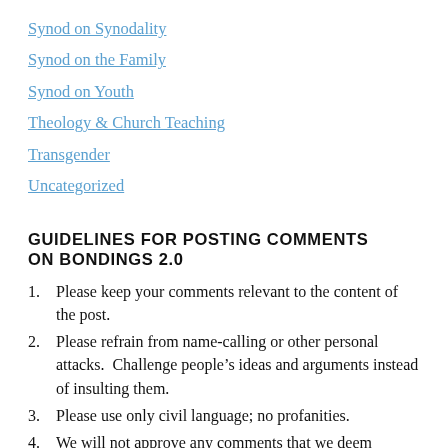Synod on Synodality
Synod on the Family
Synod on Youth
Theology & Church Teaching
Transgender
Uncategorized
GUIDELINES FOR POSTING COMMENTS ON BONDINGS 2.0
1. Please keep your comments relevant to the content of the post.
2. Please refrain from name-calling or other personal attacks.  Challenge people’s ideas and arguments instead of insulting them.
3. Please use only civil language; no profanities.
4. We will not approve any comments that we deem